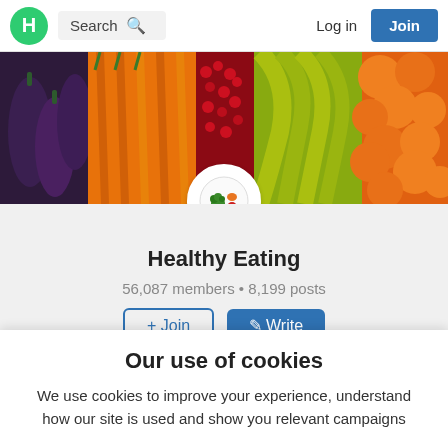H   Search   Log in   Join
[Figure (photo): Hero banner photo of colorful fruits and vegetables including eggplants, carrots, red berries, bananas and oranges arranged side by side]
[Figure (logo): Circular logo with illustrated fruits and vegetables on white background]
Healthy Eating
56,087 members • 8,199 posts
+ Join   ✎ Write
Home   About   Posts   Members
Ways to lower your cholesterol   Hide
Our use of cookies
We use cookies to improve your experience, understand how our site is used and show you relevant campaigns